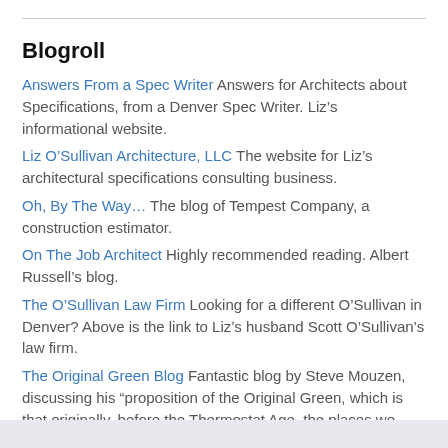Blogroll
Answers From a Spec Writer Answers for Architects about Specifications, from a Denver Spec Writer. Liz's informational website.
Liz O'Sullivan Architecture, LLC The website for Liz's architectural specifications consulting business.
Oh, By The Way… The blog of Tempest Company, a construction estimator.
On The Job Architect Highly recommended reading. Albert Russell's blog.
The O'Sullivan Law Firm Looking for a different O'Sullivan in Denver? Above is the link to Liz's husband Scott O'Sullivan's law firm.
The Original Green Blog Fantastic blog by Steve Mouzen, discussing his “proposition of the Original Green, which is that originally, before the Thermostat Age, the places we made and the buildings we built had no choice but to be green.”